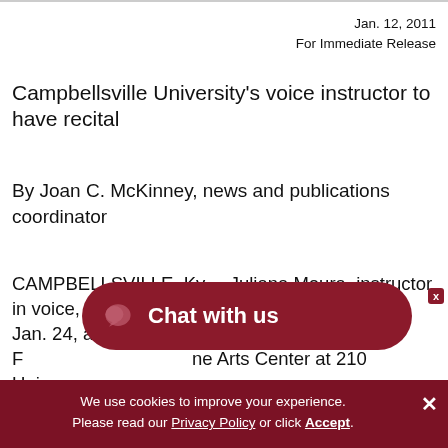Jan. 12, 2011
For Immediate Release
Campbellsville University's voice instructor to have recital
By Joan C. McKinney, news and publications coordinator
CAMPBELLSVILLE, Ky. – Juliana Moura, instructor in voice, will present a faculty recital on Monday, Jan. 24, at 8 p.m. in The Gheens Fine Arts Center at 210 Univer… The program is free and open to the public.
[Figure (other): Chat with us overlay button in dark red/maroon with speech bubble icon]
We use cookies to improve your experience. Please read our Privacy Policy or click Accept.